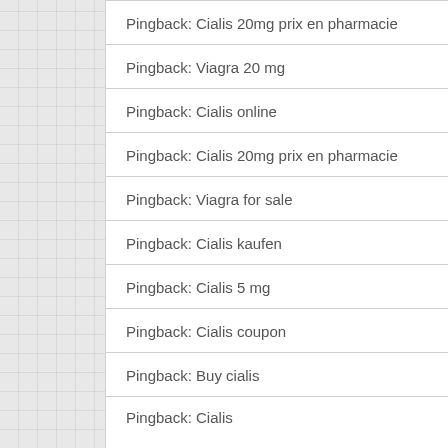Pingback: Cialis 20mg prix en pharmacie
Pingback: Viagra 20 mg
Pingback: Cialis online
Pingback: Cialis 20mg prix en pharmacie
Pingback: Viagra for sale
Pingback: Cialis kaufen
Pingback: Cialis 5 mg
Pingback: Cialis coupon
Pingback: Buy cialis
Pingback: Cialis